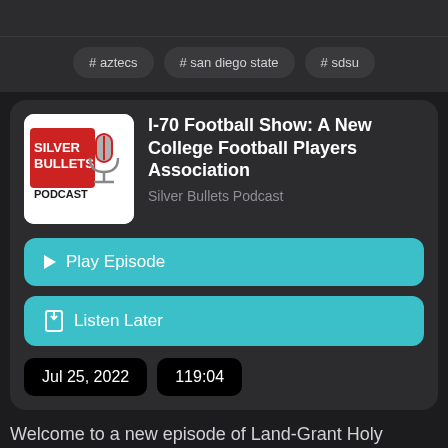# aztecs
# san diego state
# sdsu
I-70 Football Show: A New College Football Players Association
Silver Bullets Podcast
▶ Play Episode
🔖 Listen Later
Jul 25, 2022
119:04
Welcome to a new episode of Land-Grant Holy Land's I-70 podcast. On this show we talk all things Big Ten football and basketball. After every week of action, we